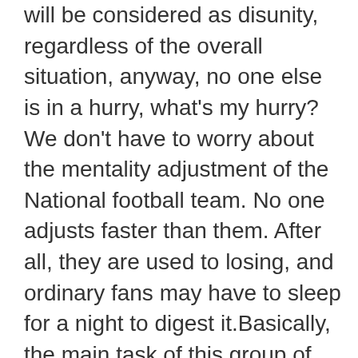will be considered as disunity, regardless of the overall situation, anyway, no one else is in a hurry, what's my hurry?We don't have to worry about the mentality adjustment of the National football team. No one adjusts faster than them. After all, they are used to losing, and ordinary fans may have to sleep for a night to digest it.Basically, the main task of this group of players is to prolong your career as long as possible, take care of your wives, children and your families, and you really don't need to be burdened with the results of the national team.Wu Lei will retire from playing for a few more years and seek an official position in Shanghai FOOTBALL Association. Zhang Linpeng should be the right back who looks most like a professional player. He made a fool of himself by clumsily stopping the ball and turning around, entertaining the fans and blocking the way to plan players.So, how can I make up, the Chinese football a lot of people are saying popular ah, youth ah, this is the most scientific method, as